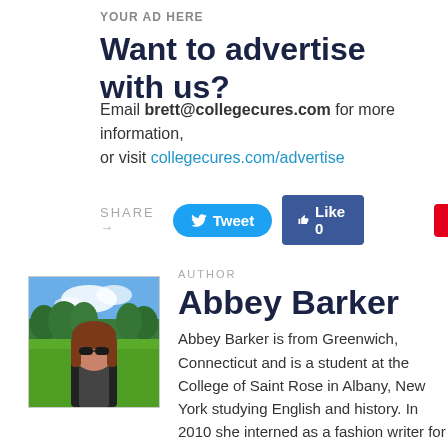YOUR AD HERE
Want to advertise with us?
Email brett@collegecures.com for more information, or visit collegecures.com/advertise
SHARE →  Tweet  Like 0  Save
AUTHOR
Abbey Barker
[Figure (photo): Photo of Abbey Barker, a young woman with long brown hair and sunglasses, standing in a green field with trees in the background.]
Abbey Barker is from Greenwich, Connecticut and is a student at the College of Saint Rose in Albany, New York studying English and history. In 2010 she interned as a fashion writer for Style and Substance